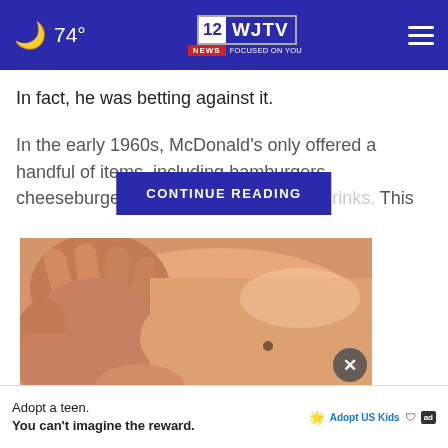74° | WJTV 12 News Focused On You
In fact, he was betting against it.
In the early 1960s, McDonald's only offered a handful of items, including hamburgers, cheeseburgers, fries, milkshakes, so[...] This
[Figure (photo): Close-up photo of a hand examining a skin mole on a person's torso]
Adopt a teen. You can't imagine the reward.